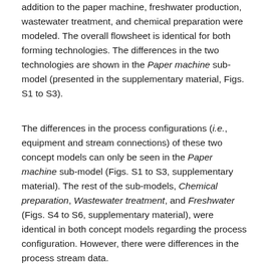addition to the paper machine, freshwater production, wastewater treatment, and chemical preparation were modeled. The overall flowsheet is identical for both forming technologies. The differences in the two technologies are shown in the Paper machine sub-model (presented in the supplementary material, Figs. S1 to S3).
The differences in the process configurations (i.e., equipment and stream connections) of these two concept models can only be seen in the Paper machine sub-model (Figs. S1 to S3, supplementary material). The rest of the sub-models, Chemical preparation, Wastewater treatment, and Freshwater (Figs. S4 to S6, supplementary material), were identical in both concept models regarding the process configuration. However, there were differences in the process stream data.